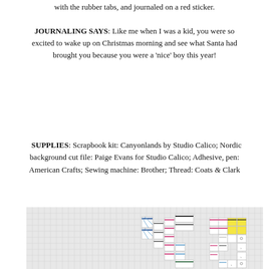with the rubber tabs, and journaled on a red sticker.
JOURNALING SAYS: Like me when I was a kid, you were so excited to wake up on Christmas morning and see what Santa had brought you because you were a 'nice' boy this year!
SUPPLIES: Scrapbook kit: Canyonlands by Studio Calico; Nordic background cut file: Paige Evans for Studio Calico; Adhesive, pen: American Crafts; Sewing machine: Brother; Thread: Coats & Clark
[Figure (photo): Scrapbook layout elements showing small colored paper tiles/tags arranged in a crossword-like pattern on a light gray grid background]